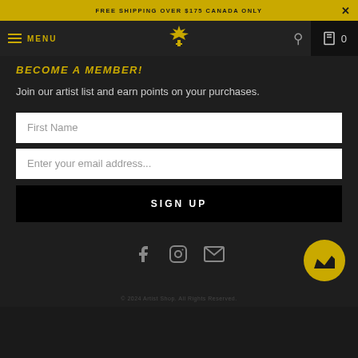FREE SHIPPING OVER $175 CANADA ONLY
[Figure (screenshot): Navigation bar with hamburger menu, MENU text in gold, logo with maple leaf and cross, search icon, and cart with 0 items]
BECOME A MEMBER!
Join our artist list and earn points on your purchases.
First Name
Enter your email address...
SIGN UP
[Figure (other): Social media icons: Facebook, Instagram, Email, and a gold crown button]
© 2024 Artist Shop. All Rights Reserved.